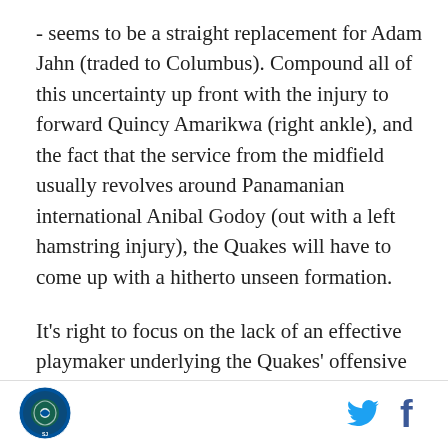- seems to be a straight replacement for Adam Jahn (traded to Columbus). Compound all of this uncertainty up front with the injury to forward Quincy Amarikwa (right ankle), and the fact that the service from the midfield usually revolves around Panamanian international Anibal Godoy (out with a left hamstring injury), the Quakes will have to come up with a hitherto unseen formation.
It's right to focus on the lack of an effective playmaker underlying the Quakes' offensive woes. While the Earthquakes have several midfield options, they have continually accrued injuries throughout this season. The lineup has been highly variable with many different
[Figure (logo): Circular team logo with blue and green colors featuring a soccer/earthquake design]
[Figure (logo): Twitter bird icon in cyan blue]
[Figure (logo): Facebook 'f' icon in dark blue]